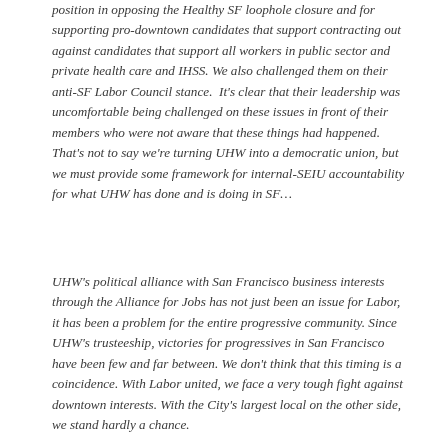position in opposing the Healthy SF loophole closure and for supporting pro-downtown candidates that support contracting out against candidates that support all workers in public sector and private health care and IHSS. We also challenged them on their anti-SF Labor Council stance.  It's clear that their leadership was uncomfortable being challenged on these issues in front of their members who were not aware that these things had happened. That's not to say we're turning UHW into a democratic union, but we must provide some framework for internal-SEIU accountability for what UHW has done and is doing in SF…
UHW's political alliance with San Francisco business interests through the Alliance for Jobs has not just been an issue for Labor, it has been a problem for the entire progressive community. Since UHW's trusteeship, victories for progressives in San Francisco have been few and far between. We don't think that this timing is a coincidence. With Labor united, we face a very tough fight against downtown interests. With the City's largest local on the other side, we stand hardly a chance.